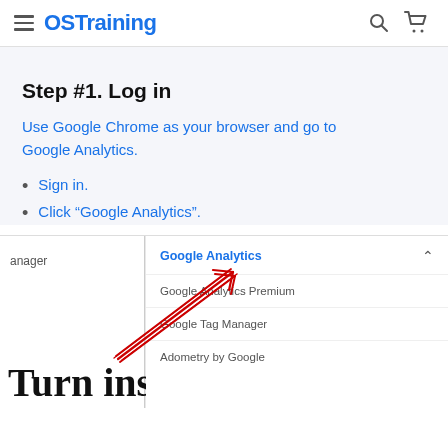OSTraining
Step #1. Log in
Use Google Chrome as your browser and go to Google Analytics.
Sign in.
Click “Google Analytics”.
[Figure (screenshot): Screenshot of a Google Analytics dropdown menu with a red hand-drawn arrow pointing to the 'Google Analytics' option. The dropdown shows: Google Analytics (bold, blue), Google Analytics Premium, Google Tag Manager, Adometry by Google. Left side shows partial text 'anager' and large text 'Turn insig' at the bottom.]